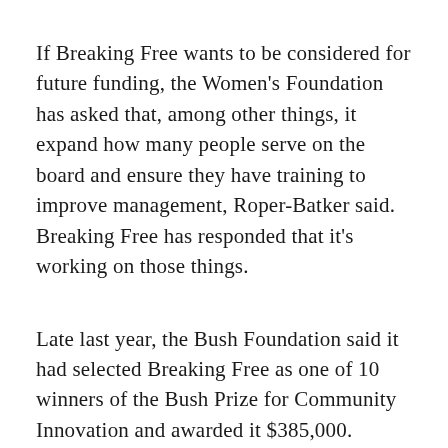If Breaking Free wants to be considered for future funding, the Women's Foundation has asked that, among other things, it expand how many people serve on the board and ensure they have training to improve management, Roper-Batker said. Breaking Free has responded that it's working on those things.
Late last year, the Bush Foundation said it had selected Breaking Free as one of 10 winners of the Bush Prize for Community Innovation and awarded it $385,000.